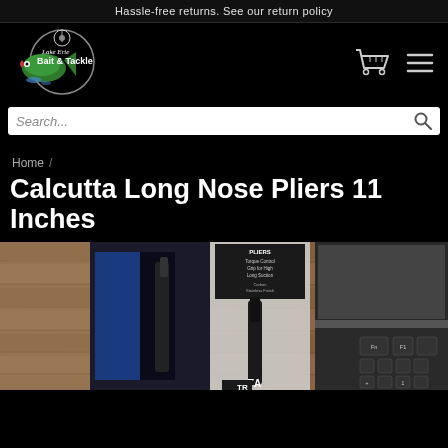Hassle-free returns. See our return policy
[Figure (logo): Lake Erie Bait & Tackle logo showing a bass fish jumping with fishing line and reel inside a circle]
[Figure (screenshot): Shopping cart icon and hamburger menu icon in white outline on black background]
[Figure (screenshot): Search bar with search icon on white background]
Home /
Calcutta Long Nose Pliers 11 Inches
[Figure (photo): Product photo showing Calcutta Long Nose Pliers 11 inches in packaging, displayed on wooden surface next to a laptop]